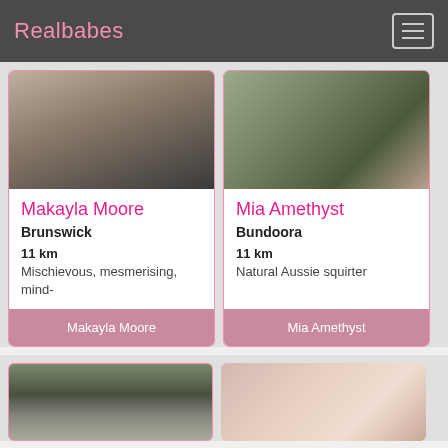Realbabes
[Figure (photo): Profile photo of Makayla Moore]
Makayla Moore
Brunswick
11 km
Mischievous, mesmerising, mind-
Makayla Moore (button)
[Figure (photo): Profile photo of Mia Amethyst]
Mia Amethyst
Bundoora
11 km
Natural Aussie squirter
Mia Amethyst (button)
[Figure (photo): Profile photo bottom left - building/roof]
[Figure (photo): Profile photo bottom right - blonde woman]